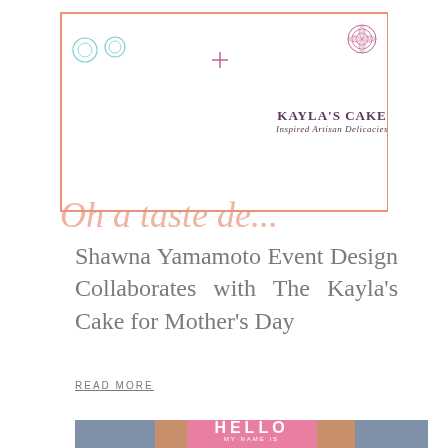[Figure (logo): Kayla's Cake Inspired Artisan Delicacies logo with decorative coral border frame and script lettering at bottom]
Shawna Yamamoto Event Design Collaborates with The Kayla's Cake for Mother's Day
READ MORE
[Figure (photo): Child with face paint hearts on cheeks holding a pink Hello My Name Is badge]